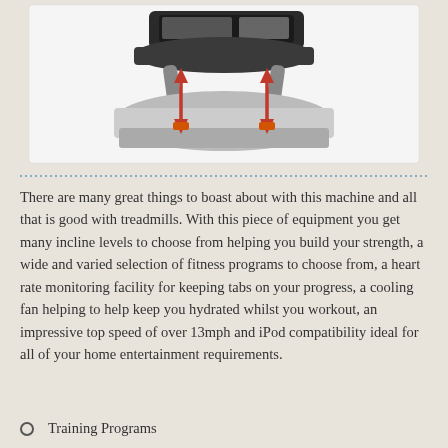[Figure (photo): Photo of a treadmill console/handlebar area with two red double-headed arrows indicating adjustable height or incline feature]
There are many great things to boast about with this machine and all that is good with treadmills. With this piece of equipment you get many incline levels to choose from helping you build your strength, a wide and varied selection of fitness programs to choose from, a heart rate monitoring facility for keeping tabs on your progress, a cooling fan helping to help keep you hydrated whilst you workout, an impressive top speed of over 13mph and iPod compatibility ideal for all of your home entertainment requirements.
Training Programs